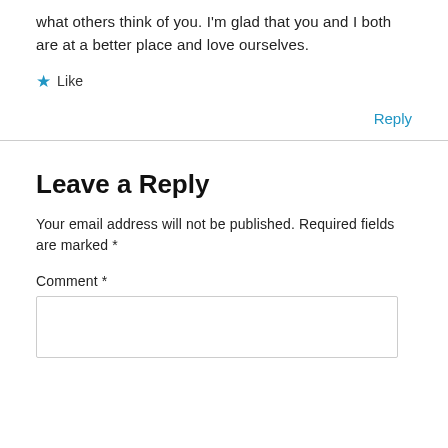what others think of you. I'm glad that you and I both are at a better place and love ourselves.
★ Like
Reply
Leave a Reply
Your email address will not be published. Required fields are marked *
Comment *